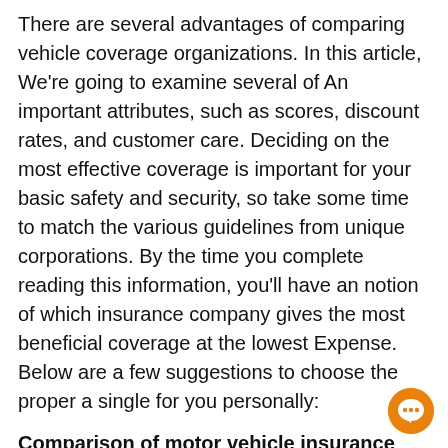There are several advantages of comparing vehicle coverage organizations. In this article, We're going to examine several of An important attributes, such as scores, discount rates, and customer care. Deciding on the most effective coverage is important for your basic safety and security, so take some time to match the various guidelines from unique corporations. By the time you complete reading this information, you'll have an notion of which insurance company gives the most beneficial coverage at the lowest Expense. Below are a few suggestions to choose the proper a single for you personally:
Comparison of motor vehicle insurance coverage providers
To get the ideal level, you need to compare motor vehicle insurance policies prices from different organizations. Insurers use a lot of components to find out the price of insurance coverage. It's essential to detect your individual needs and Assess costs from a number of suppliers. For instance, sports automobiles can Charge much more to